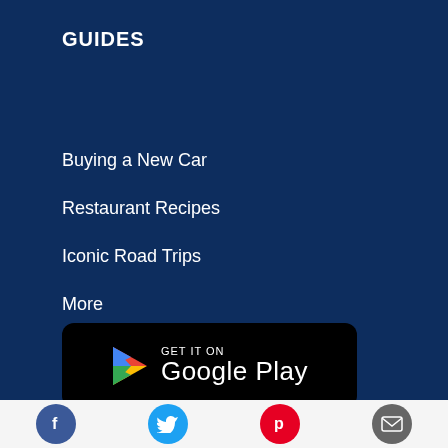GUIDES
Buying a New Car
Restaurant Recipes
Iconic Road Trips
More
DOWNLOAD THE APP
[Figure (logo): GET IT ON Google Play button (black rounded rectangle with Google Play triangle logo and text)]
[Figure (logo): Download on the App Store button (partially visible, black rounded rectangle)]
[Figure (infographic): Social media icons row: Facebook (blue circle), Twitter (cyan circle), Pinterest (red circle), Email (dark grey circle)]